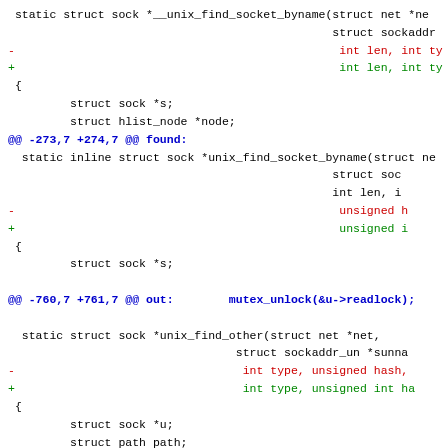[Figure (other): A unified diff / code patch showing changes to C source code. Multiple diff hunks are shown with removed lines in red, added lines in green, hunk headers in blue, and context lines in black monospace.]